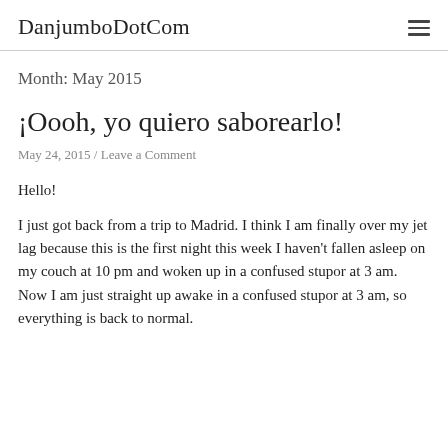DanjumboDotCom
Month: May 2015
¡Oooh, yo quiero saborearlo!
May 24, 2015 / Leave a Comment
Hello!
I just got back from a trip to Madrid. I think I am finally over my jet lag because this is the first night this week I haven't fallen asleep on my couch at 10 pm and woken up in a confused stupor at 3 am. Now I am just straight up awake in a confused stupor at 3 am, so everything is back to normal.